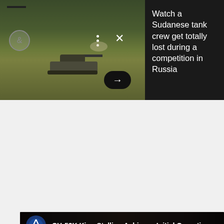[Figure (screenshot): Web card showing a military tank on a field in Russia. UI elements visible: hamburger menu, ampersand circle icon, three-dot menu, X close button, and a right-arrow button. Dark panel on right with article title text.]
Watch a Sudanese tank crew get totally lost during a competition in Russia
[Figure (screenshot): YouTube video thumbnail for 'CH-53K King Stallion Achieves Initial Operatio...' showing a military cargo helicopter interior with a utility vehicle (UTV) being loaded/unloaded, with two people visible. Lockheed Martin logo circle on upper left. Red YouTube play button centered.]